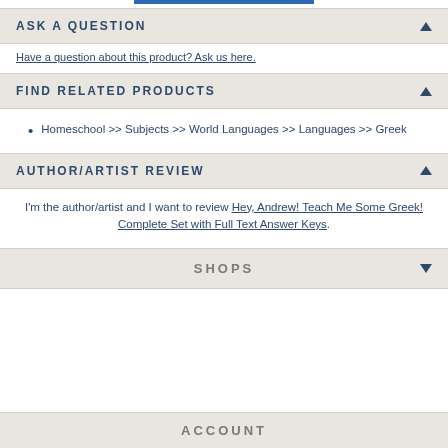ASK A QUESTION
Have a question about this product? Ask us here.
FIND RELATED PRODUCTS
Homeschool >> Subjects >> World Languages >> Languages >> Greek
AUTHOR/ARTIST REVIEW
I'm the author/artist and I want to review Hey, Andrew! Teach Me Some Greek! Complete Set with Full Text Answer Keys.
SHOPS
ACCOUNT